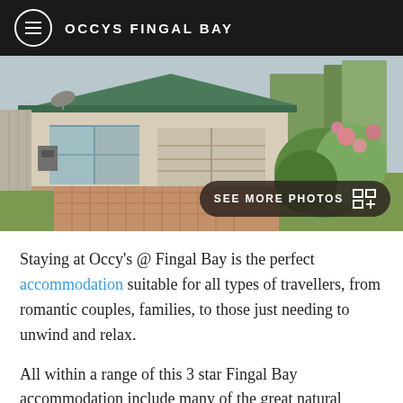OCCYS FINGAL BAY
[Figure (photo): Exterior photo of a residential house with green tiled roof, sliding glass doors, brick paving driveway, and flowering shrubs. A 'SEE MORE PHOTOS' button overlay appears in the bottom-right corner.]
Staying at Occy's @ Fingal Bay is the perfect accommodation suitable for all types of travellers, from romantic couples, families, to those just needing to unwind and relax.
All within a range of this 3 star Fingal Bay accommodation include many of the great natural attractions that the reef is known for, including the stunning views, the islands, the reef, and popular